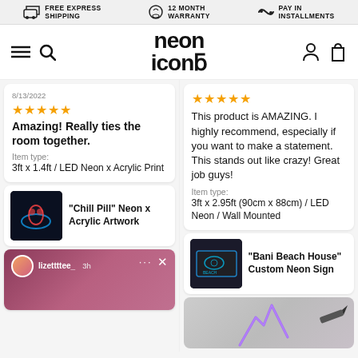FREE EXPRESS SHIPPING | 12 MONTH WARRANTY | PAY IN INSTALLMENTS
[Figure (logo): Neon Icons logo — stylized text reading 'neon icons' in bold rounded font]
8/13/2022
★★★★★
Amazing! Really ties the room together.
Item type:
3ft x 1.4ft / LED Neon x Acrylic Print
[Figure (photo): Product photo of Chill Pill Neon x Acrylic Artwork — glowing neon pill shape on dark background]
"Chill Pill" Neon x Acrylic Artwork
[Figure (screenshot): Social media story card with pink/mauve background, user lizettttee_ posted 3h ago]
★★★★★
This product is AMAZING.  I highly recommend, especially if you want to make a statement.  This stands out like crazy!  Great job guys!
Item type:
3ft x 2.95ft (90cm x 88cm) / LED Neon / Wall Mounted
[Figure (photo): Product photo of Bani Beach House Custom Neon Sign — neon artwork on wall]
"Bani Beach House" Custom Neon Sign
[Figure (photo): Partial image showing a purple neon sign shape on a light/grey surface]